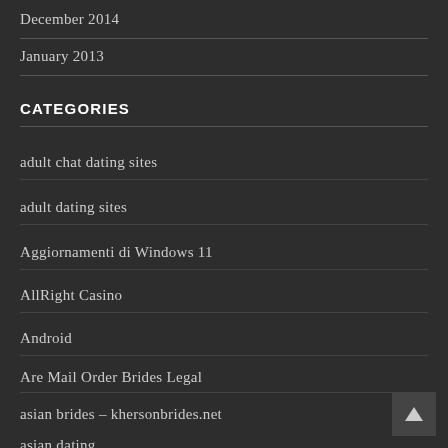December 2014
January 2013
CATEGORIES
adult chat dating sites
adult dating sites
Aggiornamenti di Windows 11
AllRight Casino
Android
Are Mail Order Brides Legal
asian brides – khersonbrides.net
asian dating